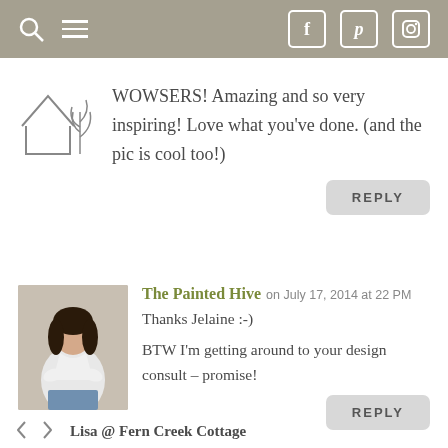Navigation bar with search, menu, Facebook, Pinterest, Instagram icons
WOWSERS! Amazing and so very inspiring! Love what you've done. (and the pic is cool too!)
REPLY
The Painted Hive on July 17, 2014 at 22 PM
Thanks Jelaine :-)
BTW I'm getting around to your design consult – promise!
REPLY
Lisa @ Fern Creek Cottage